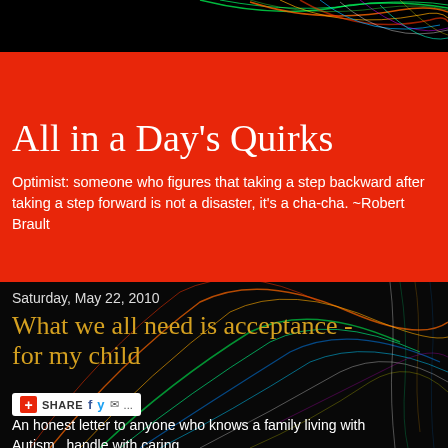[Figure (illustration): Black background with colorful neon swirling lines (green, orange, red, blue, white) at top of page]
All in a Day's Quirks
Optimist: someone who figures that taking a step backward after taking a step forward is not a disaster, it's a cha-cha. ~Robert Brault
[Figure (illustration): Black background with colorful neon swirling lines forming abstract pattern in bottom half of page]
Saturday, May 22, 2010
What we all need is acceptance - for my child
SHARE [social share buttons: Facebook, Twitter, Email, more]
An honest letter to anyone who knows a family living with Autism...handle with caring.